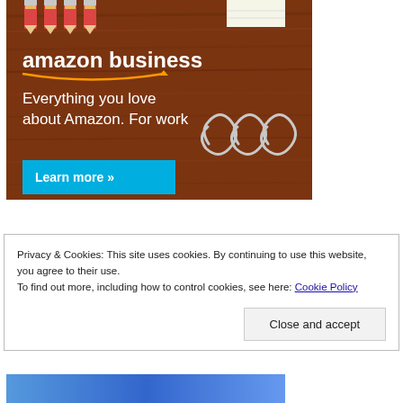[Figure (illustration): Amazon Business advertisement banner showing a wood-texture background with pencils at top and paperclips at right. Contains 'amazon business' logo with smile, tagline 'Everything you love about Amazon. For work', and a cyan 'Learn more »' button.]
Privacy & Cookies: This site uses cookies. By continuing to use this website, you agree to their use.
To find out more, including how to control cookies, see here: Cookie Policy
Close and accept